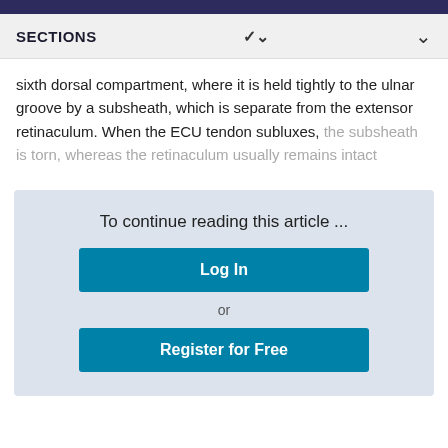SECTIONS
sixth dorsal compartment, where it is held tightly to the ulnar groove by a subsheath, which is separate from the extensor retinaculum. When the ECU tendon subluxes, the subsheath is torn, whereas the retinaculum usually remains intact
To continue reading this article ...
Log In
or
Register for Free